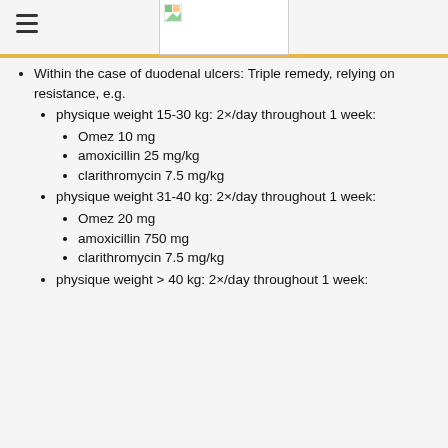[hamburger menu icon] [logo image]
Within the case of duodenal ulcers: Triple remedy, relying on resistance, e.g.
physique weight 15-30 kg: 2×/day throughout 1 week:
Omez 10 mg
amoxicillin 25 mg/kg
clarithromycin 7.5 mg/kg
physique weight 31-40 kg: 2×/day throughout 1 week:
Omez 20 mg
amoxicillin 750 mg
clarithromycin 7.5 mg/kg
physique weight > 40 kg: 2×/day throughout 1 week: